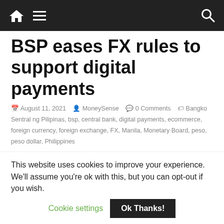BSP eases FX rules to support digital payments — navigation bar
BSP eases FX rules to support digital payments
August 11, 2021  MoneySense  0 Comments  Bangko Sentral ng Pilipinas, bsp, central bank, digital payments, ecommerce, foreign currency, foreign exchange, FX, Manila, Monetary Board, peso, peso dollar, Philippines
The Monetary Board (MB) has approved further amendments to FX regulations to promote greater ease in the use of FX resources of the banking system, and further streamline/simplify procedures
This website uses cookies to improve your experience. We'll assume you're ok with this, but you can opt-out if you wish.